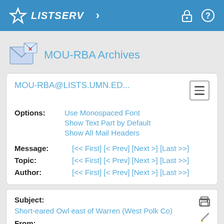LISTSERV
MOU-RBA Archives
MOU-RBA@LISTS.UMN.ED...
Options: Use Monospaced Font | Show Text Part by Default | Show All Mail Headers
Message: [<< First] [< Prev] [Next >] [Last >>]
Topic: [<< First] [< Prev] [Next >] [Last >>]
Author: [<< First] [< Prev] [Next >] [Last >>]
Subject: Short-eared Owl east of Warren (West Polk Co)
From: Agassiz Audubon <[log in to unmask]>
Reply To: Agassiz Audubon <[log in to unmask]>